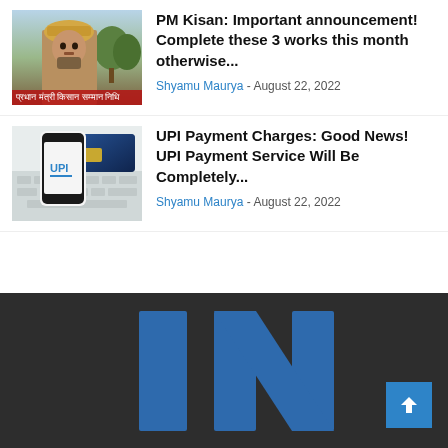[Figure (photo): Thumbnail image of an elderly Indian farmer wearing a turban]
PM Kisan: Important announcement! Complete these 3 works this month otherwise...
Shyamu Maurya - August 22, 2022
[Figure (photo): Thumbnail image of a hand holding a phone with UPI logo and a blue credit card]
UPI Payment Charges: Good News! UPI Payment Service Will Be Completely...
Shyamu Maurya - August 22, 2022
[Figure (logo): Dark footer with large blue IN logo letters]